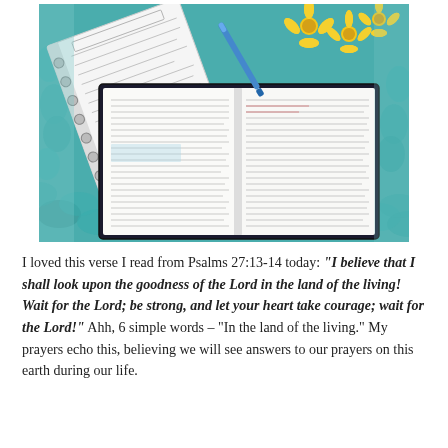[Figure (photo): Open Bible and spiral notebook with handwritten notes on a teal/turquoise crocheted blanket, with yellow daisy flowers and a blue pen in the background.]
I loved this verse I read from Psalms 27:13-14 today: “I believe that I shall look upon the goodness of the Lord in the land of the living! Wait for the Lord; be strong, and let your heart take courage; wait for the Lord!” Ahh, 6 simple words – “In the land of the living.” My prayers echo this, believing we will see answers to our prayers on this earth during our life.